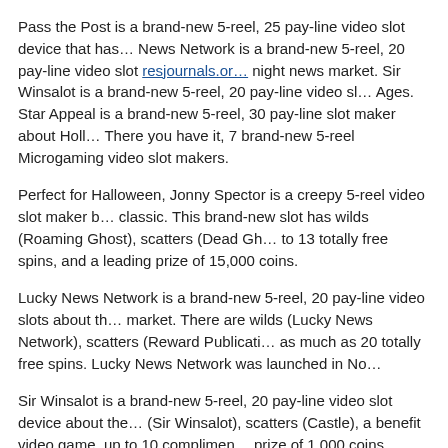Pass the Post is a brand-new 5-reel, 25 pay-line video slot device that has… News Network is a brand-new 5-reel, 20 pay-line video slot resjournals.or… night news market. Sir Winsalot is a brand-new 5-reel, 20 pay-line video sl… Ages. Star Appeal is a brand-new 5-reel, 30 pay-line slot maker about Holl… There you have it, 7 brand-new 5-reel Microgaming video slot makers.
Perfect for Halloween, Jonny Spector is a creepy 5-reel video slot maker b… classic. This brand-new slot has wilds (Roaming Ghost), scatters (Dead Gh… to 13 totally free spins, and a leading prize of 15,000 coins.
Lucky News Network is a brand-new 5-reel, 20 pay-line video slots about th… market. There are wilds (Lucky News Network), scatters (Reward Publicati… as much as 20 totally free spins. Lucky News Network was launched in No…
Sir Winsalot is a brand-new 5-reel, 20 pay-line video slot device about the… (Sir Winsalot), scatters (Castle), a benefit video game, up to 10 complimen… prize of 1,000 coins.
Bob's Bowling Treasure trove is a brand-new bowling-themed slot maker th… lines, and plenty of prizes, bowling shoes, balls, and pins. This brand-new s… scatters (Bowling Ball), and a bonus offer video game.
Pass the Post is a brand-new 5-reel, 25 pay-line video slot maker that has…